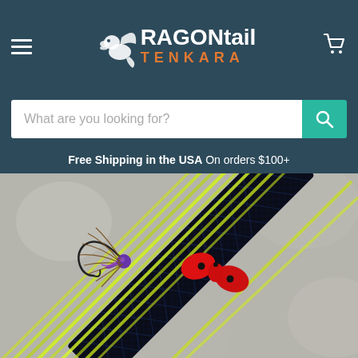DRAGONtail TENKARA
What are you looking for?
Free Shipping in the USA On orders $100+
[Figure (photo): Close-up photo of a tenkara fly fishing setup showing a black carbon fiber rod with blue weave pattern, a bright yellow-green line wrapped with a red plastic line holder/tamer clip, and a wet fly with purple bead head, brown feather hackle, and dark hook attached near the red clip. Background is blurred gray.]